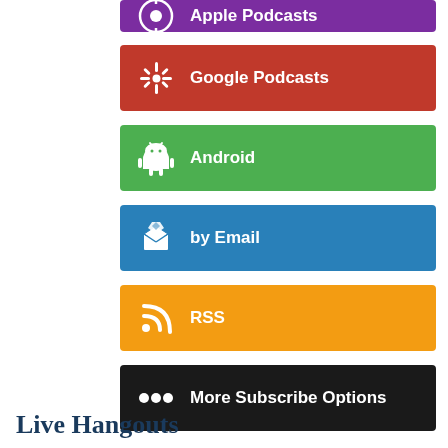[Figure (infographic): Purple button partially visible at top: Apple Podcasts]
[Figure (infographic): Red button: Google Podcasts with Google Podcasts dots icon]
[Figure (infographic): Green button: Android with Android robot icon]
[Figure (infographic): Blue button: by Email with email/envelope icon]
[Figure (infographic): Orange button: RSS with RSS feed icon]
[Figure (infographic): Black button: More Subscribe Options with three dots icon]
Live Hangouts